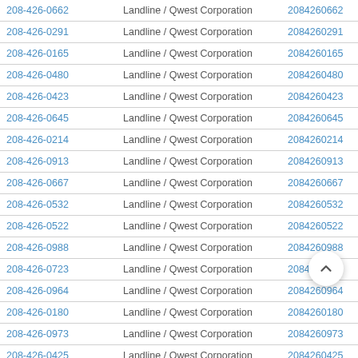| Phone | Type / Carrier | Number | Action |
| --- | --- | --- | --- |
| 208-426-0662 | Landline / Qwest Corporation | 2084260662 | View |
| 208-426-0291 | Landline / Qwest Corporation | 2084260291 | View |
| 208-426-0165 | Landline / Qwest Corporation | 2084260165 | View |
| 208-426-0480 | Landline / Qwest Corporation | 2084260480 | View |
| 208-426-0423 | Landline / Qwest Corporation | 2084260423 | View |
| 208-426-0645 | Landline / Qwest Corporation | 2084260645 | View |
| 208-426-0214 | Landline / Qwest Corporation | 2084260214 | View |
| 208-426-0913 | Landline / Qwest Corporation | 2084260913 | View |
| 208-426-0667 | Landline / Qwest Corporation | 2084260667 | View |
| 208-426-0532 | Landline / Qwest Corporation | 2084260532 | View |
| 208-426-0522 | Landline / Qwest Corporation | 2084260522 | View |
| 208-426-0988 | Landline / Qwest Corporation | 2084260988 | View |
| 208-426-0723 | Landline / Qwest Corporation | 2084260723 | View |
| 208-426-0964 | Landline / Qwest Corporation | 2084260964 | View |
| 208-426-0180 | Landline / Qwest Corporation | 2084260180 | View |
| 208-426-0973 | Landline / Qwest Corporation | 2084260973 | View |
| 208-426-0425 | Landline / Qwest Corporation | 2084260425 | View |
| 208-426-0121 | Landline / Qwest Corporation | 2084260121 | View |